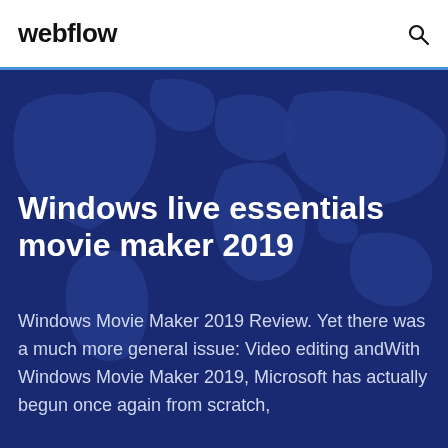webflow
[Figure (illustration): Dark blue world map background with lighter blue continent silhouettes on a deep navy background]
Windows live essentials movie maker 2019
Windows Movie Maker 2019 Review. Yet there was a much more general issue: Video editing andWith Windows Movie Maker 2019, Microsoft has actually begun once again from scratch,